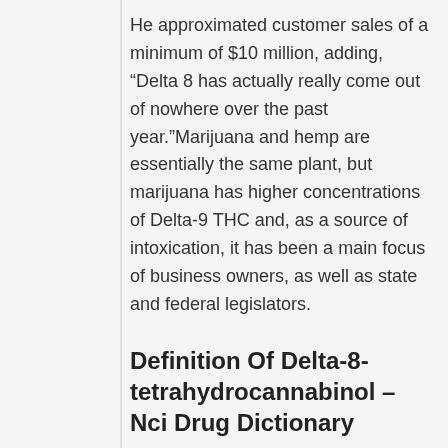He approximated customer sales of a minimum of $10 million, adding, “Delta 8 has actually really come out of nowhere over the past year.”Marijuana and hemp are essentially the same plant, but marijuana has higher concentrations of Delta-9 THC and, as a source of intoxication, it has been a main focus of business owners, as well as state and federal legislators.
Definition Of Delta-8-tetrahydrocannabinol – Nci Drug Dictionary
Downs stated – HOW LONG DOES DELTA 8 WITHDRAWAL LAST. The